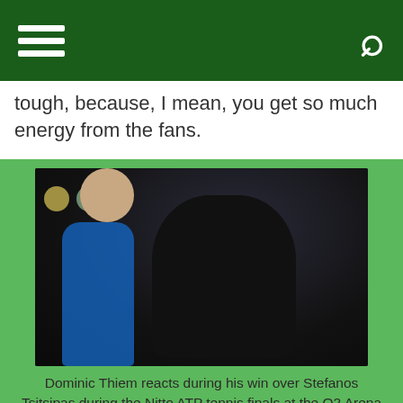tough, because, I mean, you get so much energy from the fans.
[Figure (photo): Dominic Thiem reacts with a fist pump during his win over Stefanos Tsitsipas at the Nitto ATP tennis finals at the O2 Arena in London. He is wearing a black Adidas shirt with a headband. A person in a blue shirt is visible behind him.]
Dominic Thiem reacts during his win over Stefanos Tsitsipas during the Nitto ATP tennis finals at the O2 Arena in London, Britain, 15 November 2020.
“If you go in the stadium, if you have a huge win